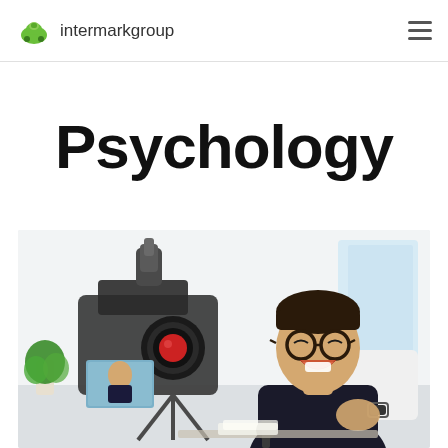intermarkgroup
Psychology
[Figure (photo): A smiling young man with glasses sitting in front of a DSLR camera on a tripod with a microphone attached, appearing to record a video or podcast in a bright home studio setting with plants in the background.]